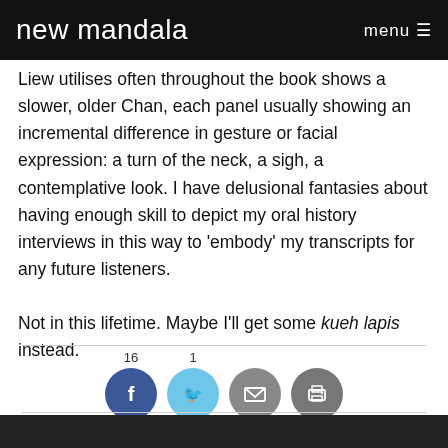new mandala  menu ☰
Liew utilises often throughout the book shows a slower, older Chan, each panel usually showing an incremental difference in gesture or facial expression: a turn of the neck, a sigh, a contemplative look. I have delusional fantasies about having enough skill to depict my oral history interviews in this way to 'embody' my transcripts for any future listeners.

Not in this lifetime. Maybe I'll get some kueh lapis instead.
[Figure (infographic): Social sharing buttons: Facebook (16 shares), Twitter (1 share), Email, Print]
[Figure (photo): Partial dark photo at bottom of page]